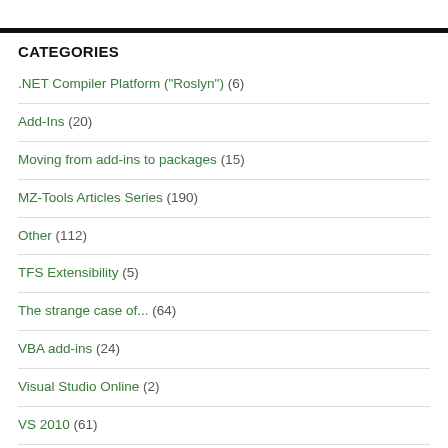CATEGORIES
.NET Compiler Platform ("Roslyn") (6)
Add-Ins (20)
Moving from add-ins to packages (15)
MZ-Tools Articles Series (190)
Other (112)
TFS Extensibility (5)
The strange case of... (64)
VBA add-ins (24)
Visual Studio Online (2)
VS 2010 (61)